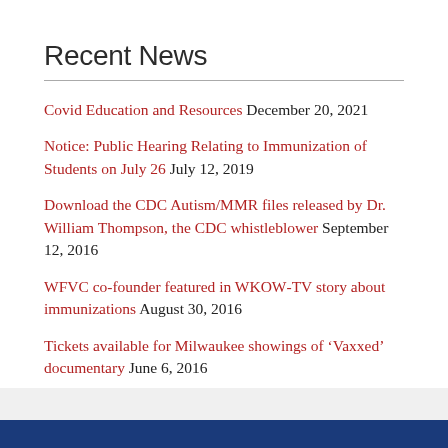Recent News
Covid Education and Resources December 20, 2021
Notice: Public Hearing Relating to Immunization of Students on July 26 July 12, 2019
Download the CDC Autism/MMR files released by Dr. William Thompson, the CDC whistleblower September 12, 2016
WFVC co-founder featured in WKOW-TV story about immunizations August 30, 2016
Tickets available for Milwaukee showings of ‘Vaxxed’ documentary June 6, 2016